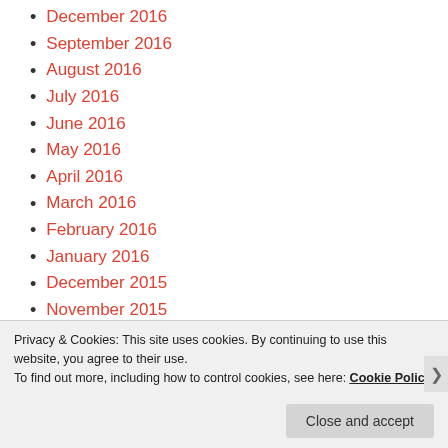December 2016
September 2016
August 2016
July 2016
June 2016
May 2016
April 2016
March 2016
February 2016
January 2016
December 2015
November 2015
October 2015
September 2015
August 2015
July 2015
June 2015
Privacy & Cookies: This site uses cookies. By continuing to use this website, you agree to their use. To find out more, including how to control cookies, see here: Cookie Policy